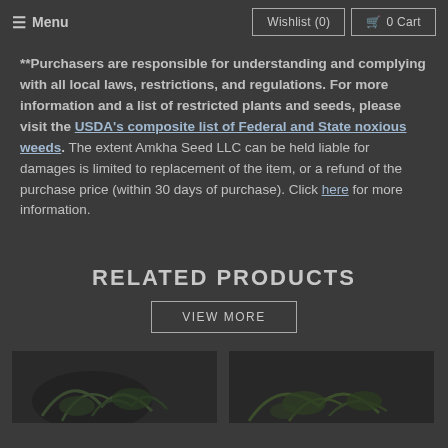≡ Menu | Wishlist (0) | 0 Cart
**Purchasers are responsible for understanding and complying with all local laws, restrictions, and regulations. For more information and a list of restricted plants and seeds, please visit the USDA's composite list of Federal and State noxious weeds. The extent Amkha Seed LLC can be held liable for damages is limited to replacement of the item, or a refund of the purchase price (within 30 days of purchase). Click here for more information.
RELATED PRODUCTS
VIEW MORE
[Figure (photo): Product image 1 - plant/seeds photo, dark background]
[Figure (photo): Product image 2 - plant/seeds photo, dark background]